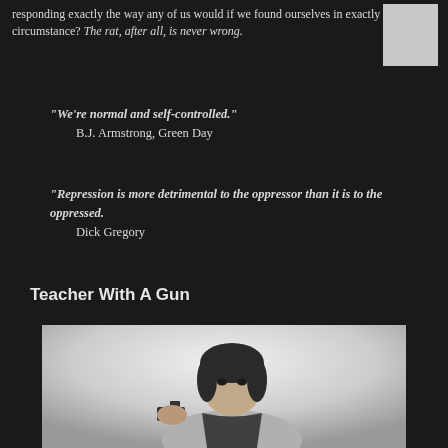responding exactly the way any of us would if we found ourselves in exactly the same circumstance? The rat, after all, is never wrong.
[Figure (photo): Small thumbnail image placeholder (gray rectangle)]
"We're normal and self-controlled."
    B.J. Armstrong, Green Day
"Repression is more detrimental to the oppressor than it is to the oppressed."
    Dick Gregory
Teacher With A Gun
[Figure (photo): Black and white photo of an Asian woman holding a gun, facing the camera with a serious expression]